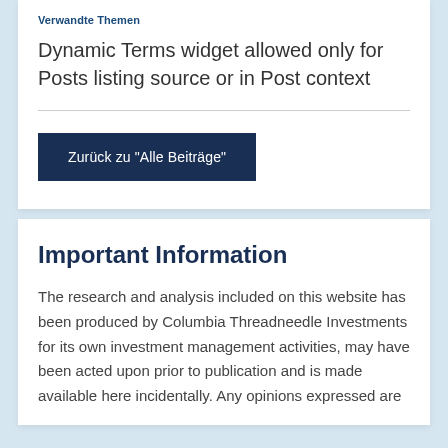Verwandte Themen
Dynamic Terms widget allowed only for Posts listing source or in Post context
Zurück zu "Alle Beiträge"
Important Information
The research and analysis included on this website has been produced by Columbia Threadneedle Investments for its own investment management activities, may have been acted upon prior to publication and is made available here incidentally. Any opinions expressed are